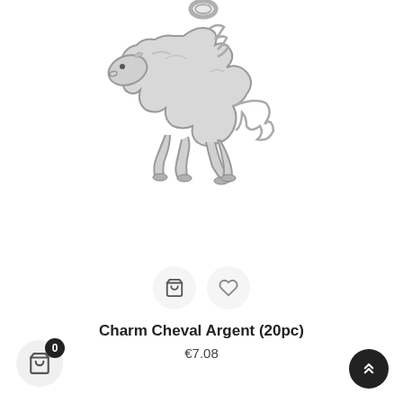[Figure (photo): Silver horse/cheval charm pendant jewelry piece on white background, shown from above with a loop/ring at the top for attaching to a bracelet or necklace.]
Charm Cheval Argent (20pc)
€7.08